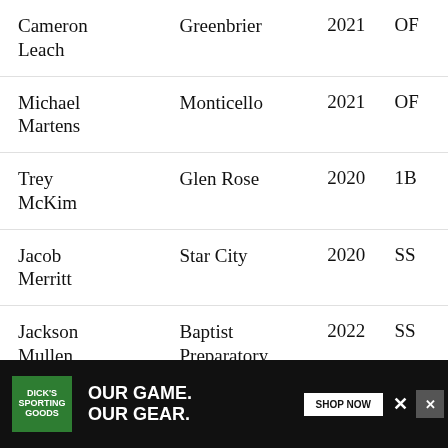| Name | School | Year | Pos |
| --- | --- | --- | --- |
| Cameron Leach | Greenbrier | 2021 | OF |
| Michael Martens | Monticello | 2021 | OF |
| Trey McKim | Glen Rose | 2020 | 1B |
| Jacob Merritt | Star City | 2020 | SS |
| Jackson Mullen | Baptist Preparatory | 2022 | SS |
| Elijah Nicholson | Morrilton | ... | P |
[Figure (photo): Dick's Sporting Goods advertisement banner with text 'OUR GAME. OUR GEAR.' and SHOP NOW button, showing a baseball player swinging a bat.]